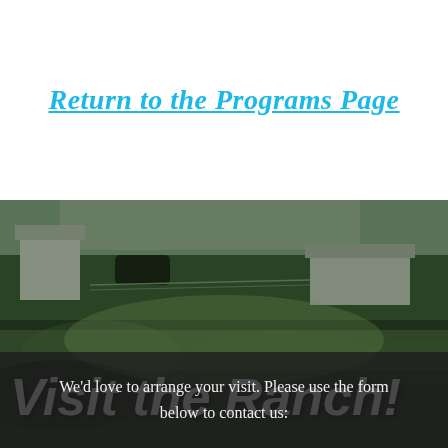Return to the Programs Page
[Figure (photo): Outdoor ranch landscape photo showing green fields, trees, farm buildings and a barn in the background with a dark overlay. Large white italic bold text reads 'Visit the Ranch!' overlaid on the image.]
We'd love to arrange your visit. Please use the form below to contact us: